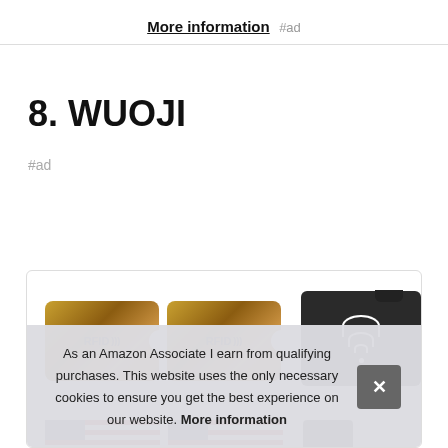More information #ad
8. WUOJI
#ad
[Figure (photo): Product photo showing RFID blocking card sleeves: two gold-colored RFID cards and a dark grey card sleeve with wifi/NFC icon, and partially visible US flag cards at the bottom]
As an Amazon Associate I earn from qualifying purchases. This website uses the only necessary cookies to ensure you get the best experience on our website. More information